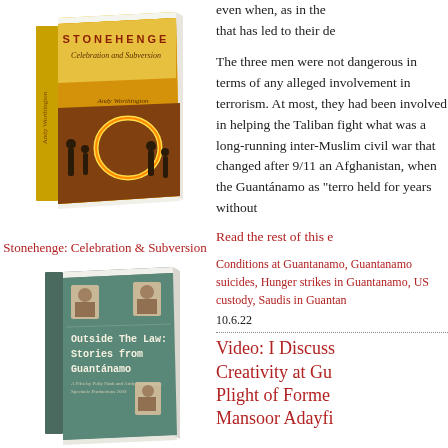[Figure (illustration): Book cover for 'Stonehenge: Celebration and Subversion' by Andy Worthington, shown as a 3D book with a yellow/orange cover featuring people and fire at night]
Stonehenge: Celebration & Subversion
[Figure (illustration): Book/DVD cover for 'Outside The Law: Stories from Guantánamo', a film by Polly Nash and Andy Worthington, showing mugshot-style photos on a teal/green cover]
even when, as in the case of the three that has led to their de
The three men were not dangerous in terms of any alleged involvement in terrorism. At most, they had been involved in helping the Taliban fight what was a long-running inter-Muslim civil war that changed after 9/11 and the invasion of Afghanistan, when they were seized, sent to Guantánamo as "terrorists" and held for years without charge or trial.
Read the rest of this e
Conditions at Guantanamo, Guantanamo suicides, Hunger strikes in Guantanamo, US custody, Saudis in Guantan
10.6.22
Video: I Discuss Creativity at Gu Plight of Forme Mansoor Adayfi